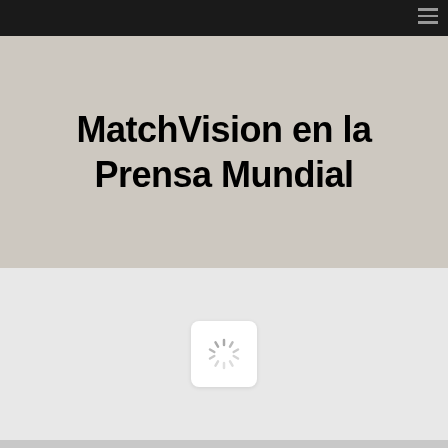MatchVision en la Prensa Mundial
[Figure (other): Loading spinner icon inside a white rounded rectangle, centered on a light gray background]